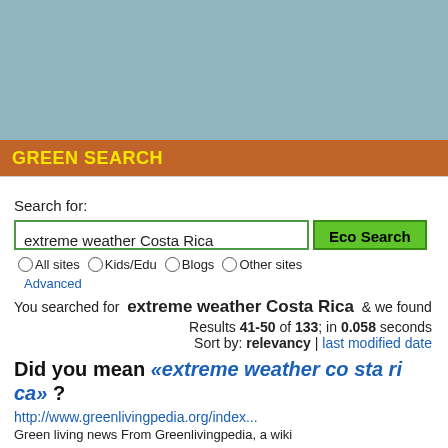[Figure (other): Blue-grey header area at top of webpage screenshot]
GREEN SEARCH
Search for:
extreme weather Costa Rica
All sites  Kids/Edu  Blogs  Other sites
Advanced
You searched for  extreme weather Costa Rica  & we found
Results 41-50 of 133; in 0.058 seconds
Sort by: relevancy | last modified date
Did you mean «extreme weather co sta ri ca» ?
http://www.greenlivingpedia.org/index...
Green living news From Greenlivingpedia, a wiki